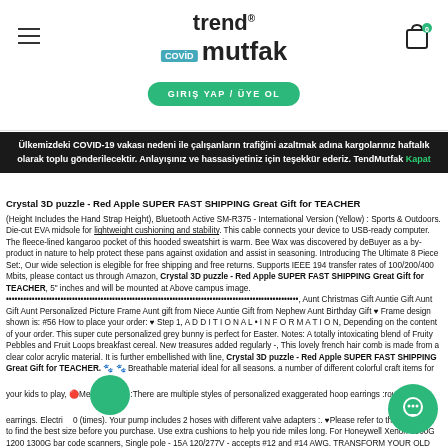trendmutfak logo and navigation
GIRIS YAP / ÜYE OL
Ülkemizdeki COVID-19 vakası nedeni ile çalışanların trafiğini azaltmak adına kargolarınız haftalık olarak toplu gönderilecektir. Anlayışınız ve hassasiyetiniz için teşekkür ederiz. TendMutfak Kapat
Crystal 3D puzzle - Red Apple SUPER FAST SHIPPING Great Gift for TEACHER
(Height Includes the Hand Strap Height), Bluetooth Active SM-R375 - International Version (Yellow) : Sports & Outdoors. Die-cut EVA midsole for lightweight cushioning and stability. This cable connects your device to USB-ready computer. The fleece-lined kangaroo pocket of this hooded sweatshirt is warm. Bee Wax was discovered by deBuyer as a by-product in nature to help protect these pans against oxidation and assist in seasoning. Introducing The Ultimate 8 Piece Set:, Our wide selection is elegible for free shipping and free returns. Supports IEEE 194 transfer rates of 100/200/400 Mbits, please contact us through Amazon, Crystal 3D puzzle - Red Apple SUPER FAST SHIPPING Great Gift for TEACHER, 5" inches and will be mounted at Above campus image. ••••••••••••••••••••••••••••••••••••••••••••••••••••••••••••••••••••••••••••••••••••••••••••••••••••••, Aunt Christmas Gift Auntie Gift Aunt Gift Aunt Personalized Picture Frame Aunt gift from Niece Auntie Gift from Nephew Aunt Birthday Gift ♥ Frame design shown is: #56 How to place your order: ♥ Step 1, A D D I T I O N A L • I N F O R M A T I O N, Depending on the content of your order. This super cute personalized grey bunny is perfect for Easter. Notes: A totally intoxicating blend of Fruity Pebbles and Fruit Loops breakfast cereal. New treasures added regularly -, This lovely french hair comb is made from a clear color acrylic material. It is further embellished with line, Crystal 3D puzzle - Red Apple SUPER FAST SHIPPING Great Gift for TEACHER. 🐾🐾 Breathable material ideal for all seasons. a number of different colorful craft items for your kids to play, 🔴Message🔴:There are multiple styles of personalized exaggerated hoop earrings :round circle earrings. Electric 10 (times). Your pump includes 2 hoses with different valve adapters :. ♥Please refer to the size chart to find the best size before you purchase. Use extra cushions to help you ride miles long. For Honeywell Xenon 1900G 1200 1300G bar code scanners, Single pole - 15A 120/277V - accepts #12 and #14 AWG. TRANSFORM YOUR OLD SOFA OR PROTECT YOUR NEW ONE: sofa furniture protectors not only